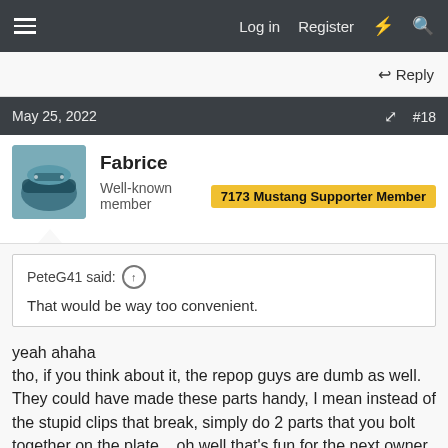Log in   Register
Reply
May 25, 2022   #18
Fabrice
Well-known member   7173 Mustang Supporter Member
PeteG41 said:
That would be way too convenient.
yeah ahaha
tho, if you think about it, the repop guys are dumb as well. They could have made these parts handy, I mean instead of the stupid clips that break, simply do 2 parts that you bolt together on the plate... oh well that's fun for the next owner in 40 or 50 years to whine about that 😀